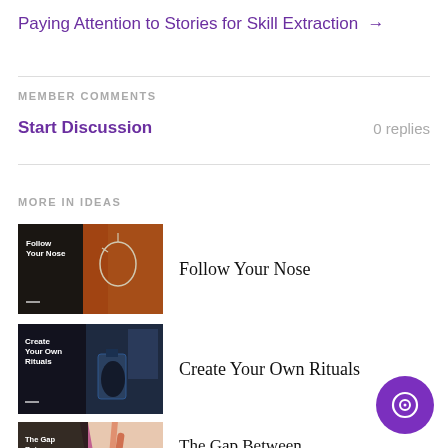Paying Attention to Stories for Skill Extraction →
MEMBER COMMENTS
Start Discussion
0 replies
MORE IN IDEAS
[Figure (illustration): Thumbnail for 'Follow Your Nose' article showing a woman with red hair and a face-outline earring on dark background]
Follow Your Nose
[Figure (illustration): Thumbnail for 'Create Your Own Rituals' article showing a dark scene with candles and blue drink]
Create Your Own Rituals
[Figure (illustration): Thumbnail for 'The Gap Between Reputation and Personal Brand' article showing cosmetics on beige background]
The Gap Between Reputation and Personal Brand